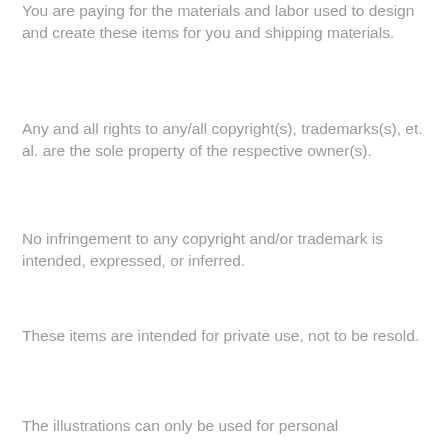You are paying for the materials and labor used to design and create these items for you and shipping materials.
Any and all rights to any/all copyright(s), trademarks(s), et. al. are the sole property of the respective owner(s).
No infringement to any copyright and/or trademark is intended, expressed, or inferred.
These items are intended for private use, not to be resold.
The illustrations can only be used for personal